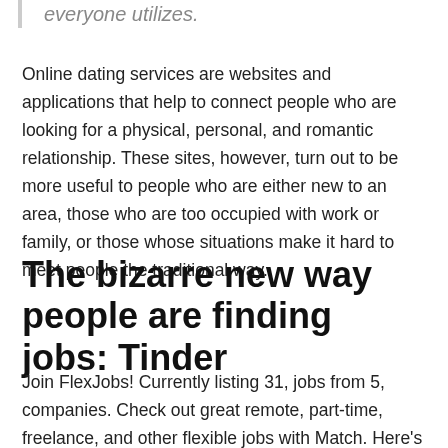everyone utilizes.
Online dating services are websites and applications that help to connect people who are looking for a physical, personal, and romantic relationship. These sites, however, turn out to be more useful to people who are either new to an area, those who are too occupied with work or family, or those whose situations make it hard to meet people the traditional way.
The bizarre new way people are finding jobs: Tinder
Join FlexJobs! Currently listing 31, jobs from 5, companies. Check out great remote, part-time, freelance, and other flexible jobs with Match. Here's an introduction to Match. A pioneer in the online dating industry, Match. Headquartered